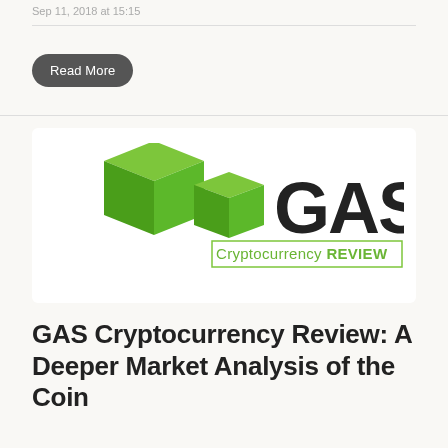Sep 11, 2018 at 15:15
Read More
[Figure (logo): GAS Cryptocurrency REVIEW logo with green 3D cube/block icon on the left and bold dark text 'GAS' with green bordered text 'Cryptocurrency REVIEW' below]
GAS Cryptocurrency Review: A Deeper Market Analysis of the Coin